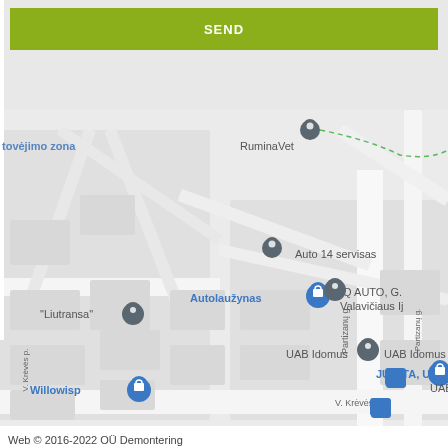[Figure (map): Google Maps screenshot showing a street map area in Lithuania with locations including RuminaVet, Auto 14 servisas, Autolaužynas, IQ AUTO G. Valavičiaus IJ, UAB Idomus, JUMITA UAB, UAB Festo, Willowisp, Liutransa, and a green SEND button overlay at top. Streets labeled include Partizanų g. and V. Krėvės pr.]
Web © 2016-2022 OÜ Demontering